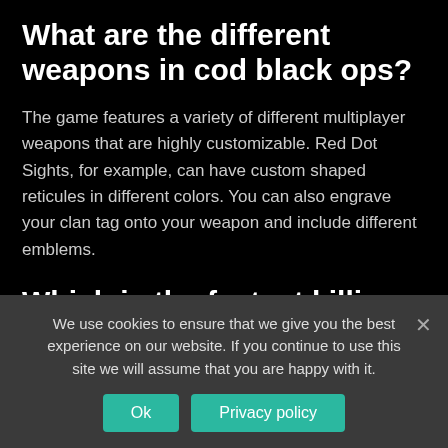What are the different weapons in cod black ops?
The game features a variety of different multiplayer weapons that are highly customizable. Red Dot Sights, for example, can have custom shaped reticules in different colors. You can also engrave your clan tag onto your weapon and include different emblems.
Which is the fastest killing gun in CODM?
Aim for the body and let headshots happen naturally. If you can
We use cookies to ensure that we give you the best experience on our website. If you continue to use this site we will assume that you are happy with it.